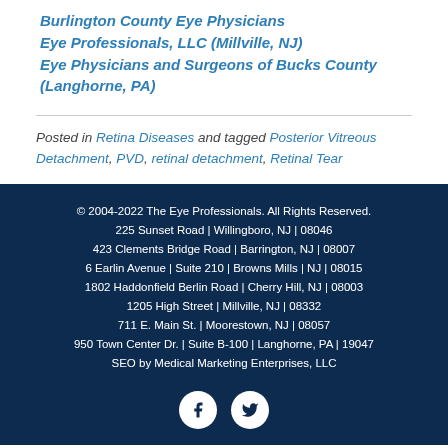Burlington County Eye Physicians
Eye Professionals, LLC (Millville, NJ)
Eye Physicians and Surgeons of Bucks County (Langhorne, PA)
Posted in Retina Diseases and tagged Posterior Vitreous Detachment, PVD, retinal detachment, Retinal Tear
© 2004-2022 The Eye Professionals. All Rights Reserved. 225 Sunset Road | Willingboro, NJ | 08046 423 Clements Bridge Road | Barrington, NJ | 08007 6 Earlin Avenue | Suite 210 | Browns Mills | NJ | 08015 1802 Haddonfield Berlin Road | Cherry Hill, NJ | 08003 1205 High Street | Millville, NJ | 08332 711 E. Main St. | Moorestown, NJ | 08057 950 Town Center Dr. | Suite B-100 | Langhorne, PA | 19047 SEO by Medical Marketing Enterprises, LLC